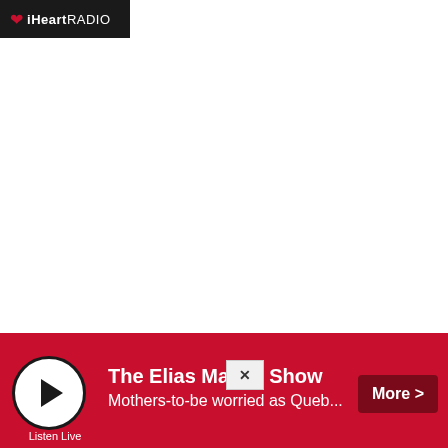iHeartRADIO
[Figure (screenshot): iHeartRadio app screenshot showing mostly blank white content area with a media player bar at the bottom. The player bar is red and shows 'The Elias Makos Show' with subtitle 'Mothers-to-be worried as Queb...' and a play button and More button.]
The Elias Makos Show
Mothers-to-be worried as Queb...
More >
Listen Live